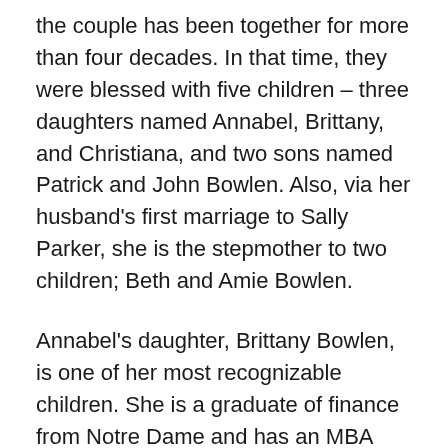the couple has been together for more than four decades. In that time, they were blessed with five children – three daughters named Annabel, Brittany, and Christiana, and two sons named Patrick and John Bowlen. Also, via her husband's first marriage to Sally Parker, she is the stepmother to two children; Beth and Amie Bowlen.
Annabel's daughter, Brittany Bowlen, is one of her most recognizable children. She is a graduate of finance from Notre Dame and has an MBA from Duke University. Brittany is now setting herself up as the head of the Broncos organization and currently holds the role of Vice President of Strategic Initiatives. Before the role, she worked as a business analyst with the organization and has also hold